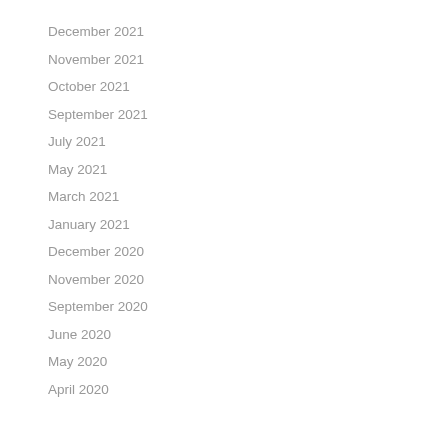December 2021
November 2021
October 2021
September 2021
July 2021
May 2021
March 2021
January 2021
December 2020
November 2020
September 2020
June 2020
May 2020
April 2020